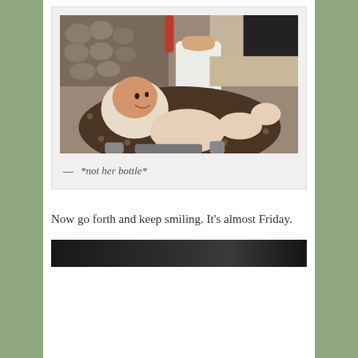[Figure (photo): A baby lying in a car seat or bouncer with a brown polka-dot pattern, holding a large white rectangular container (not a bottle). An adult hand reaches in from above holding the container. Background shows a restaurant or cafe interior.]
— *not her bottle*
Now go forth and keep smiling. It's almost Friday.
[Figure (photo): Partial view of another photo at the bottom of the page, dark/dim image.]